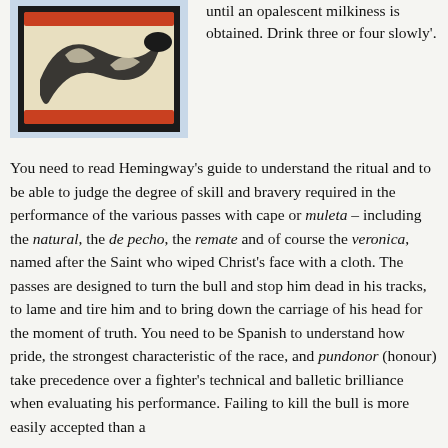[Figure (photo): Photograph of a ceramic or decorative object with black and cream dragon/serpent design on a dark background with red/orange trim.]
until an opalescent milkiness is obtained. Drink three or four slowly'.
You need to read Hemingway's guide to understand the ritual and to be able to judge the degree of skill and bravery required in the performance of the various passes with cape or muleta – including the natural, the de pecho, the remate and of course the veronica, named after the Saint who wiped Christ's face with a cloth. The passes are designed to turn the bull and stop him dead in his tracks, to lame and tire him and to bring down the carriage of his head for the moment of truth. You need to be Spanish to understand how pride, the strongest characteristic of the race, and pundonor (honour) take precedence over a fighter's technical and balletic brilliance when evaluating his performance. Failing to kill the bull is more easily accepted than a